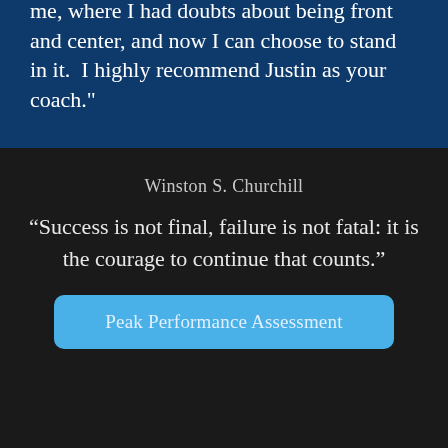me, where I had doubts about being front and center, and now I can choose to stand in it.  I highly recommend Justin as your coach."
Winston S. Churchill
“Success is not final, failure is not fatal: it is the courage to continue that counts.”
Peak Performance Assessment